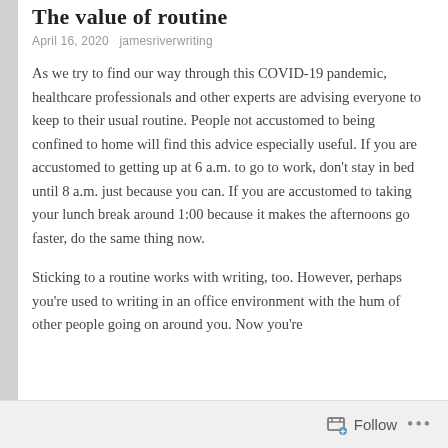The value of routine
April 16, 2020   jamesriverwriting
As we try to find our way through this COVID-19 pandemic, healthcare professionals and other experts are advising everyone to keep to their usual routine. People not accustomed to being confined to home will find this advice especially useful. If you are accustomed to getting up at 6 a.m. to go to work, don't stay in bed until 8 a.m. just because you can. If you are accustomed to taking your lunch break around 1:00 because it makes the afternoons go faster, do the same thing now.
Sticking to a routine works with writing, too. However, perhaps you're used to writing in an office environment with the hum of other people going on around you. Now you're
Follow ...